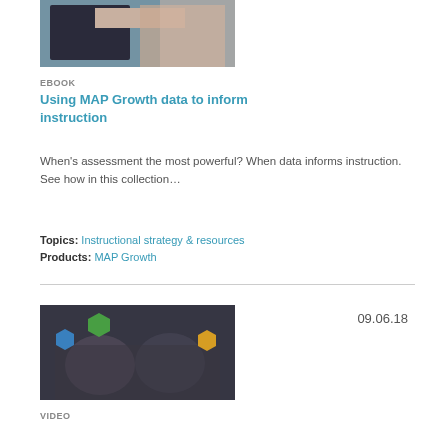[Figure (photo): Teacher and student at a computer in a classroom]
EBOOK
Using MAP Growth data to inform instruction
When's assessment the most powerful? When data informs instruction. See how in this collection...
Topics: Instructional strategy & resources
Products: MAP Growth
09.06.18
[Figure (photo): Two students reading books in a classroom with colorful hexagon overlays]
VIDEO